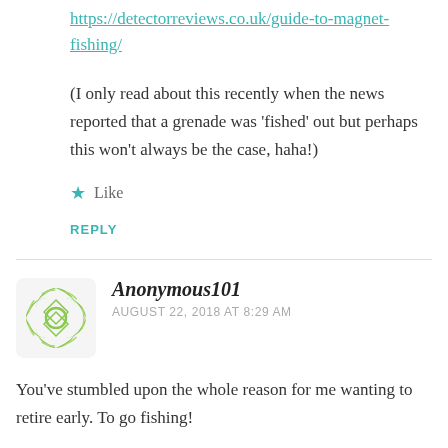https://detectorreviews.co.uk/guide-to-magnet-fishing/
(I only read about this recently when the news reported that a grenade was ‘fished’ out but perhaps this won’t always be the case, haha!)
★ Like
REPLY
Anonymous101
AUGUST 22, 2018 AT 8:29 AM
You’ve stumbled upon the whole reason for me wanting to retire early. To go fishing!